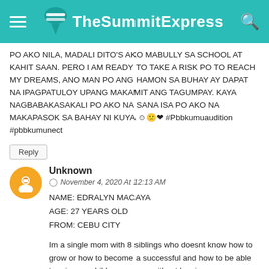TheSummitExpress
PO AKO NILA, MADALI DITO'S AKO MABULLY SA SCHOOL AT KAHIT SAAN. PERO I AM READY TO TAKE A RISK PO TO REACH MY DREAMS, ANO MAN PO ANG HAMON SA BUHAY AY DAPAT NA IPAGPATULOY UPANG MAKAMIT ANG TAGUMPAY. KAYA NAGBABAKASAKALI PO AKO NA SANA ISA PO AKO NA MAKAPASOK SA BAHAY NI KUYA ☺🙁❤ #Pbbkumuaudition #pbbkumunect
Reply
Unknown
© November 4, 2020 At 12:13 AM
NAME: EDRALYN MACAYA
AGE: 27 YEARS OLD
FROM: CEBU CITY

Im a single mom with 8 siblings who doesnt know how to grow or how to become a successful and how to be able to raise my child on my own without leaning on my parents..please give a chance to be a role model to those people like me who doesnt know how to grow or very insecure to myself and very scared to face people i want to